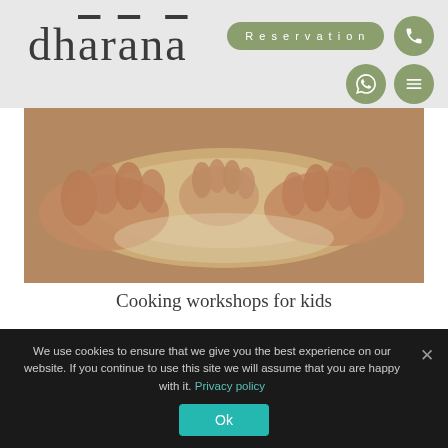dhārānā
Reservation
[Figure (photo): Hands kneading dough — cooking workshop for kids]
Cooking workshops for kids
Classes for kids are based on various educational and interactive themes.
We use cookies to ensure that we give you the best experience on our website. If you continue to use this site we will assume that you are happy with it. Privacy policy
Ok